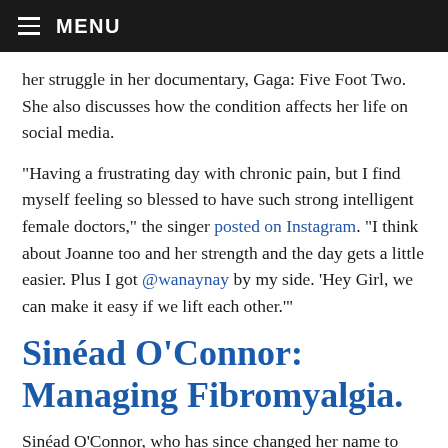MENU
her struggle in her documentary, Gaga: Five Foot Two. She also discusses how the condition affects her life on social media.
“Having a frustrating day with chronic pain, but I find myself feeling so blessed to have such strong intelligent female doctors,” the singer posted on Instagram. “I think about Joanne too and her strength and the day gets a little easier. Plus I got @wanaynay by my side. ‘Hey Girl, we can make it easy if we lift each other.’”
Sinéad O’Connor: Managing Fibromyalgia.
Sinéad O’Connor, who has since changed her name to